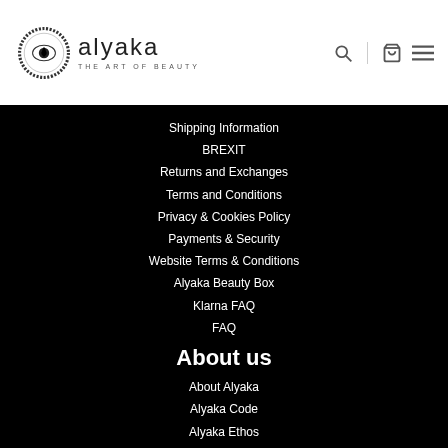[Figure (logo): Alyaka logo with circular eye/drop icon and text 'alyaka THE ART OF BEAUTY']
Shipping Information
BREXIT
Returns and Exchanges
Terms and Conditions
Privacy & Cookies Policy
Payments & Security
Website Terms & Conditions
Alyaka Beauty Box
Klarna FAQ
FAQ
About us
About Alyaka
Alyaka Code
Alyaka Ethos